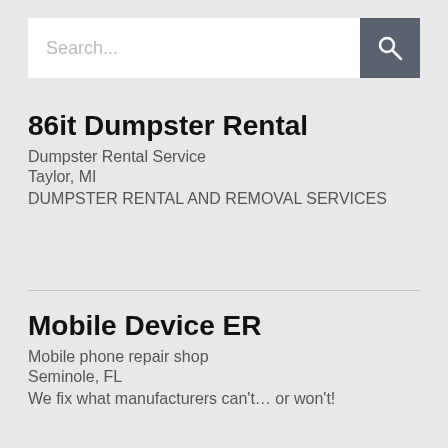[Figure (screenshot): Search bar with placeholder text 'Search...' and a dark grey search button with a magnifying glass icon]
86it Dumpster Rental
Dumpster Rental Service
Taylor, MI
DUMPSTER RENTAL AND REMOVAL SERVICES
Mobile Device ER
Mobile phone repair shop
Seminole, FL
We fix what manufacturers can't… or won't!